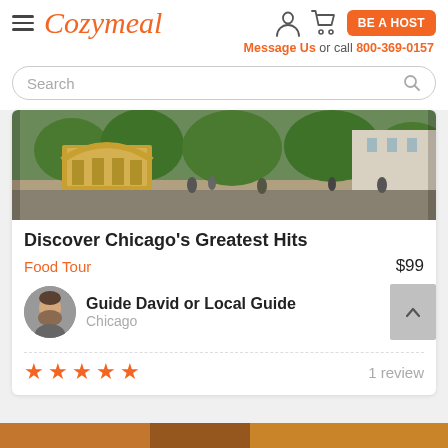Cozymeal — BE A HOST — Message Us or call 800-369-0157
Search
[Figure (photo): Street scene in Chicago with golden arched structure and trees, crowded sidewalk]
Discover Chicago's Greatest Hits
Food Tour   $99
Guide David or Local Guide
Chicago
★★★★★  1 review